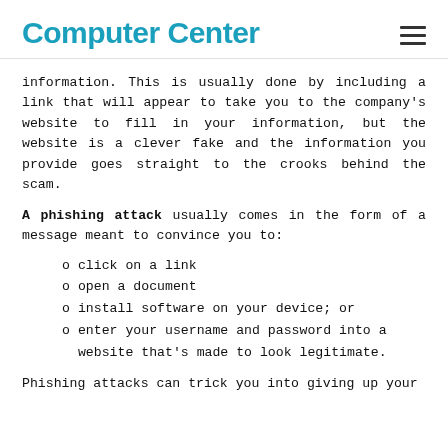Computer Center
information. This is usually done by including a link that will appear to take you to the company's website to fill in your information, but the website is a clever fake and the information you provide goes straight to the crooks behind the scam.
A phishing attack usually comes in the form of a message meant to convince you to:
click on a link
open a document
install software on your device; or
enter your username and password into a website that's made to look legitimate.
Phishing attacks can trick you into giving up your